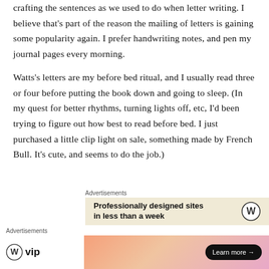crafting the sentences as we used to do when letter writing. I believe that's part of the reason the mailing of letters is gaining some popularity again. I prefer handwriting notes, and pen my journal pages every morning.
Watts's letters are my before bed ritual, and I usually read three or four before putting the book down and going to sleep. (In my quest for better rhythms, turning lights off, etc, I'd been trying to figure out how best to read before bed. I just purchased a little clip light on sale, something made by French Bull. It's cute, and seems to do the job.)
[Figure (screenshot): WordPress advertisement: 'Professionally designed sites in less than a week' with WordPress logo, and a close button (X circle).]
[Figure (screenshot): WordPress VIP advertisement with gradient background and 'Learn more' button.]